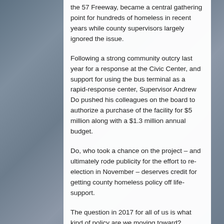[Figure (photo): Crowd of people in background, used as page background image]
the 57 Freeway, became a central gathering point for hundreds of homeless in recent years while county supervisors largely ignored the issue.
Following a strong community outcry last year for a response at the Civic Center, and support for using the bus terminal as a rapid-response center, Supervisor Andrew Do pushed his colleagues on the board to authorize a purchase of the facility for $5 million along with a $1.3 million annual budget.
Do, who took a chance on the project – and ultimately rode publicity for the effort to re-election in November – deserves credit for getting county homeless policy off life-support.
The question in 2017 for all of us is what kind of policy are we moving toward?
So far, the Courtyard has been a clear success.
This past month, when the rains fell on the Civic Center...